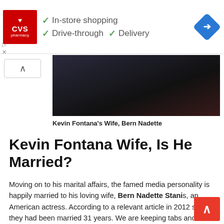[Figure (advertisement): CVS Pharmacy advertisement banner with logo and checkmarks for In-store shopping, Drive-through, and Delivery, plus a blue navigation diamond icon]
[Figure (photo): Partial photo of a person in black clothing, bottom portion visible, appears to be Kevin Fontana's wife Bern Nadette]
Kevin Fontana's Wife, Bern Nadette
Kevin Fontana Wife, Is He Married?
Moving on to his marital affairs, the famed media personality is happily married to his loving wife, Bern Nadette Stanis, an American actress. According to a relevant article in 2012 said they had been married 31 years. We are keeping tabs and we will update his wife's details soon when disclosed.